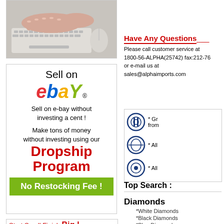[Figure (photo): Hands typing on a white keyboard with a computer mouse]
[Figure (infographic): Sell on eBay - Dropship Program advertisement. Text: Sell on eBay, Sell on e-bay without investing a cent!, Make tons of money without investing using our Dropship Program, No Restocking Fee!]
[Figure (infographic): Start Small Finish Big! Use our Huge Inventory - partial advertisement]
Have Any Questions
Please call customer service at 1800-56-ALPHA(25742) fax:212-76 or e-mail us at sales@alphaimports.com
[Figure (infographic): Three circular icons with text: * Gr... from..., * All..., * All...]
Top Search :
Diamonds
*White Diamonds
*Black Diamonds
*Blue Diamonds
*Champagne Diamonds